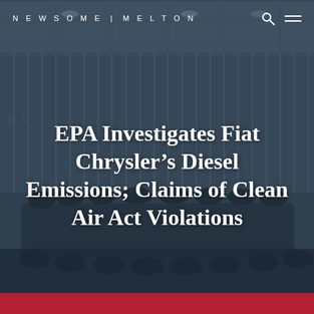NEWSOME | MELTON
[Figure (photo): Background photo of a glass-walled conference room with chairs and tables, darkened overlay, viewed from outside through glass panels]
EPA Investigates Fiat Chrysler's Diesel Emissions; Claims of Clean Air Act Violations